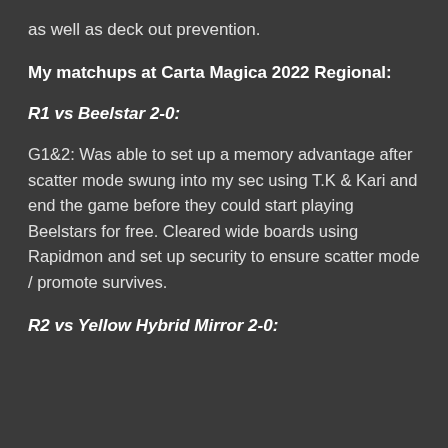as well as deck out prevention.
My matchups at Carta Magica 2022 Regional:
R1 vs Beelstar 2-0:
G1&2: Was able to set up a memory advantage after scatter mode swung into my sec using T.K & Kari and end the game before they could start playing Beelstars for free. Cleared wide boards using Rapidmon and set up security to ensure scatter mode / promote survives.
R2 vs Yellow Hybrid Mirror 2-0: